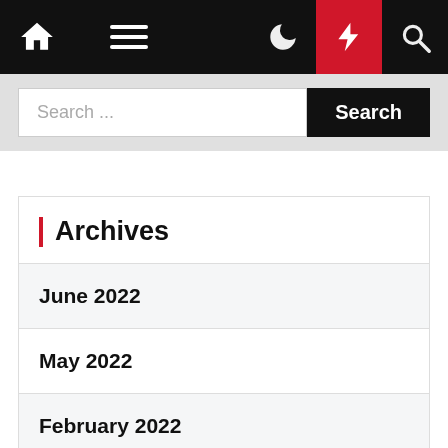Navigation bar with home, menu, dark mode, lightning/flash, and search icons
Search ...
Archives
June 2022
May 2022
February 2022
December 2021
November 2021
September 2021